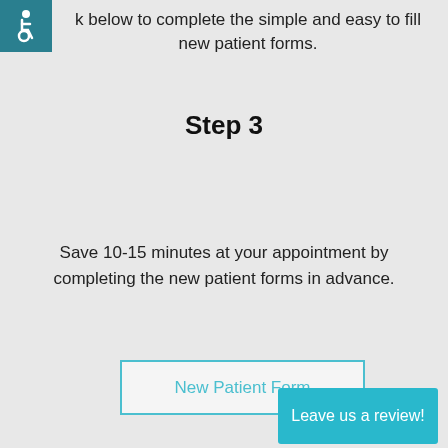[Figure (logo): Wheelchair accessibility icon, white symbol on teal/dark cyan background square]
k below to complete the simple and easy to fill new patient forms.
Step 3
Save 10-15 minutes at your appointment by completing the new patient forms in advance.
[Figure (other): Button outline labeled 'New Patient Form' with teal border and teal text]
[Figure (other): Teal button labeled 'Leave us a review!']